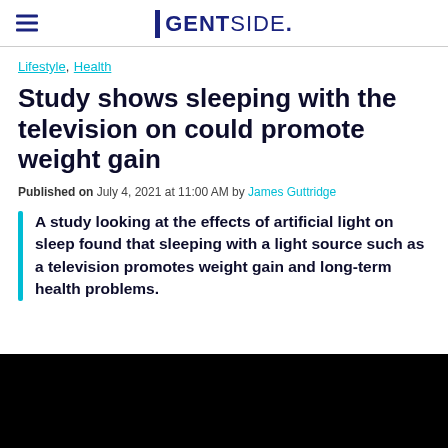GENTSIDE.
Lifestyle, Health
Study shows sleeping with the television on could promote weight gain
Published on July 4, 2021 at 11:00 AM by James Guttridge
A study looking at the effects of artificial light on sleep found that sleeping with a light source such as a television promotes weight gain and long-term health problems.
[Figure (photo): Black rectangle representing a video thumbnail or image placeholder at the bottom of the article]